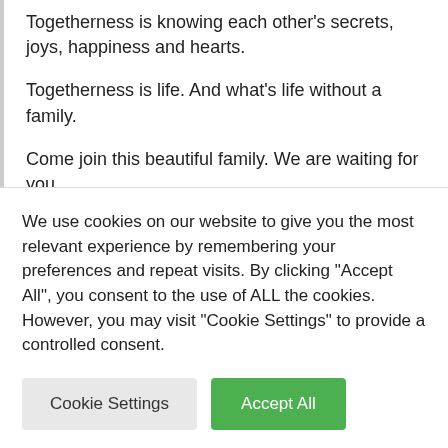Togetherness is knowing each other's secrets, joys, happiness and hearts.
Togetherness is life. And what's life without a family.
Come join this beautiful family. We are waiting for you.
#RakshaBandhanTrailer coming out today. So set a reminder for 5.40pm.
#ReturnToFeelings #RakshaBandhan11August
@aanandlrai @bhumipednekar #HimanshuSharma @kanikad @sadiaakhatsak @deenikunoo @amrithisrikanth
We use cookies on our website to give you the most relevant experience by remembering your preferences and repeat visits. By clicking "Accept All", you consent to the use of ALL the cookies. However, you may visit "Cookie Settings" to provide a controlled consent.